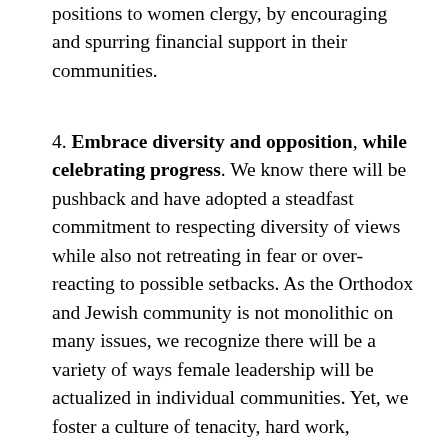positions to women clergy, by encouraging and spurring financial support in their communities.
4. Embrace diversity and opposition, while celebrating progress. We know there will be pushback and have adopted a steadfast commitment to respecting diversity of views while also not retreating in fear or over-reacting to possible setbacks. As the Orthodox and Jewish community is not monolithic on many issues, we recognize there will be a variety of ways female leadership will be actualized in individual communities. Yet, we foster a culture of tenacity, hard work, optimism, and hope amongst our various stakeholders, and take the time to celebrate the achievements of our students and graduates, and the fact that they ARE changing our community for the better and bringing the needed voice and perspective of